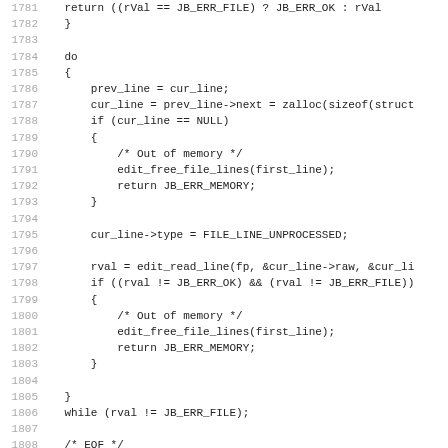[Figure (screenshot): Source code listing in monospace font showing C code lines 1781-1812, with line numbers in gray on the left and code text in dark color on the right. The code shows a do-while loop reading file lines and handling memory errors.]